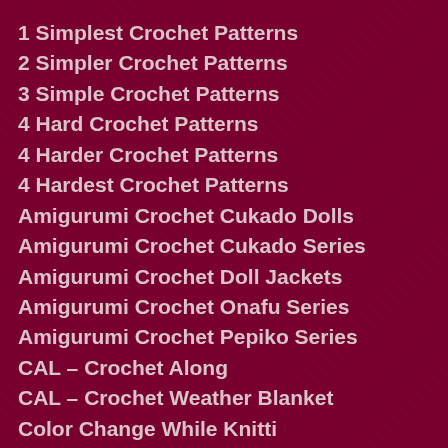1 Simplest Crochet Patterns
2 Simpler Crochet Patterns
3 Simple Crochet Patterns
4 Hard Crochet Patterns
4 Harder Crochet Patterns
4 Hardest Crochet Patterns
Amigurumi Crochet Cukado Dolls
Amigurumi Crochet Cukado Series
Amigurumi Crochet Doll Jackets
Amigurumi Crochet Onafu Series
Amigurumi Crochet Pepiko Series
CAL – Crochet Along
CAL – Crochet Weather Blanket
Color Change While Knitting